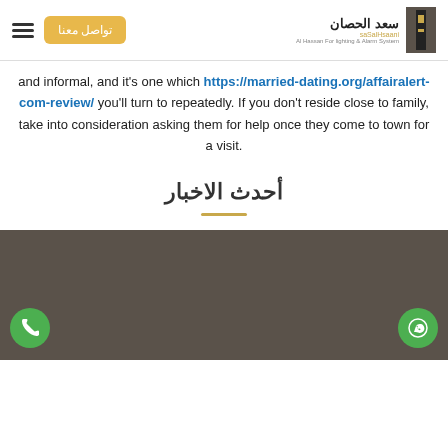سعد الحصان | Al Hassan For Lighting & Alarm System
and informal, and it's one which https://married-dating.org/affairalert-com-review/ you'll turn to repeatedly. If you don't reside close to family, take into consideration asking them for help once they come to town for a visit.
أحدث الاخبار
[Figure (photo): Dark brownish-grey image block at the bottom of the page, with a green phone button at the lower left and a green WhatsApp button at the lower right.]